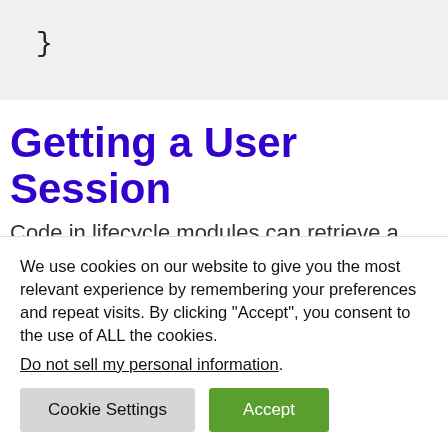}
Getting a User Session
Code in lifecycle modules can retrieve a user session from the SysObject parameter. IDfSession user Session = obj.getSession(); If the docbase is configured to run lifecycle
We use cookies on our website to give you the most relevant experience by remembering your preferences and repeat visits. By clicking “Accept”, you consent to the use of ALL the cookies.
Do not sell my personal information.
Cookie Settings   Accept